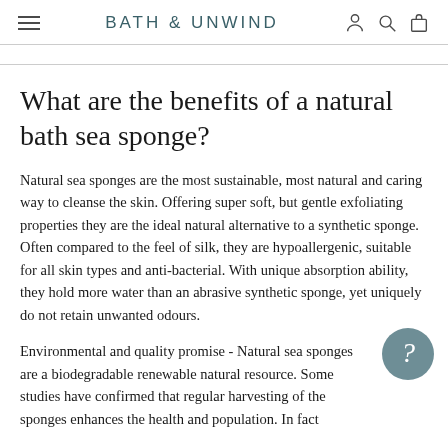BATH & UNWIND
What are the benefits of a natural bath sea sponge?
Natural sea sponges are the most sustainable, most natural and caring way to cleanse the skin. Offering super soft, but gentle exfoliating properties they are the ideal natural alternative to a synthetic sponge. Often compared to the feel of silk, they are hypoallergenic, suitable for all skin types and anti-bacterial. With unique absorption ability, they hold more water than an abrasive synthetic sponge, yet uniquely do not retain unwanted odours.
Environmental and quality promise - Natural sea sponges are a biodegradable renewable natural resource. Some studies have confirmed that regular harvesting of the sponges enhances the health and population. In fact